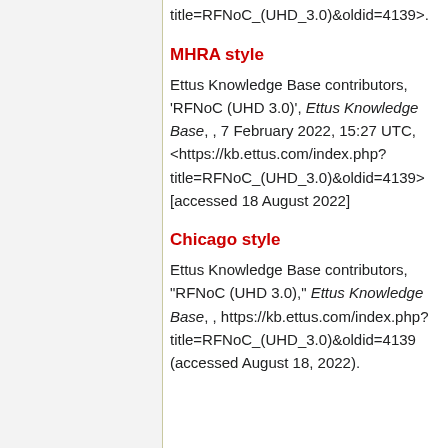title=RFNoC_(UHD_3.0)&oldid=4139>.
MHRA style
Ettus Knowledge Base contributors, 'RFNoC (UHD 3.0)', Ettus Knowledge Base, , 7 February 2022, 15:27 UTC, <https://kb.ettus.com/index.php?title=RFNoC_(UHD_3.0)&oldid=4139> [accessed 18 August 2022]
Chicago style
Ettus Knowledge Base contributors, "RFNoC (UHD 3.0)," Ettus Knowledge Base, , https://kb.ettus.com/index.php?title=RFNoC_(UHD_3.0)&oldid=4139 (accessed August 18, 2022).